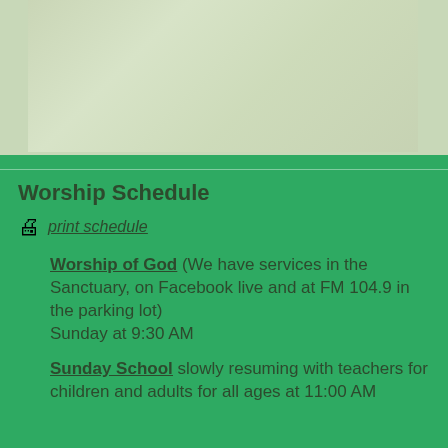[Figure (photo): Faint greenish-tinted photo of a child's face, partially visible, behind a decorative border on a light green background]
Worship Schedule
🖨 print schedule
Worship of God (We have services in the Sanctuary, on Facebook live and at FM 104.9 in the parking lot)
Sunday at 9:30 AM
Sunday School slowly resuming with teachers for children and adults for all ages at 11:00 AM